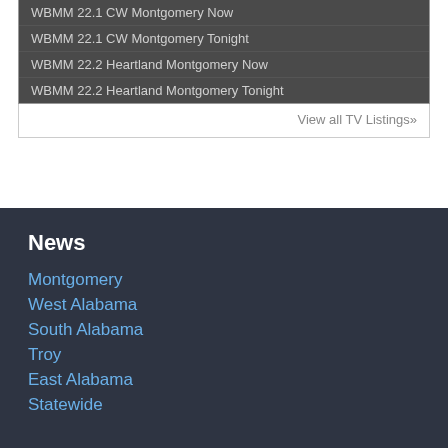WBMM 22.1 CW Montgomery Now
WBMM 22.1 CW Montgomery Tonight
WBMM 22.2 Heartland Montgomery Now
WBMM 22.2 Heartland Montgomery Tonight
View all TV Listings»
News
Montgomery
West Alabama
South Alabama
Troy
East Alabama
Statewide